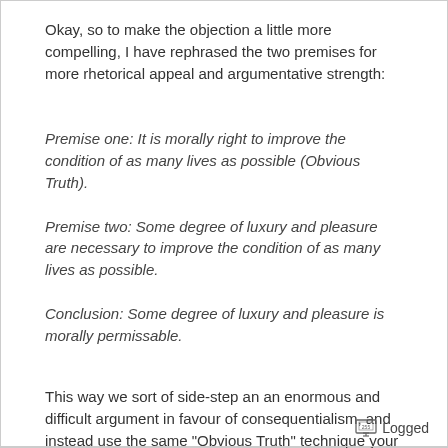Okay, so to make the objection a little more compelling, I have rephrased the two premises for more rhetorical appeal and argumentative strength:
Premise one: It is morally right to improve the condition of as many lives as possible (Obvious Truth).
Premise two: Some degree of luxury and pleasure are necessary to improve the condition of as many lives as possible.
Conclusion: Some degree of luxury and pleasure is morally permissable.
This way we sort of side-step an an enormous and difficult argument in favour of consequentialism, and instead use the same "Obvious Truth" technique your proffessor does.
Logged